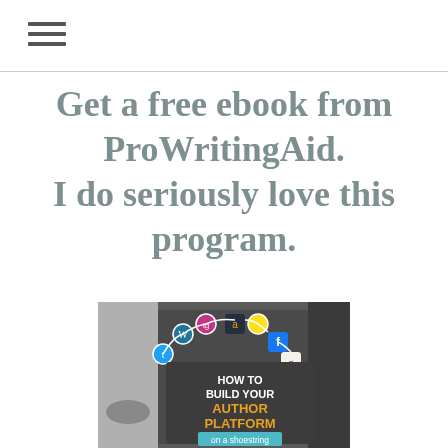Get a free ebook from ProWritingAid. I do seriously love this program.
[Figure (photo): Book cover for 'How to Build Your Author Platform on a Shoestring' with social media platform icons (WordPress, Instagram, Amazon, MailChimp, Facebook, Goodreads, Twitter) connected by curved lines above a tablet device, set against a chalkboard background.]